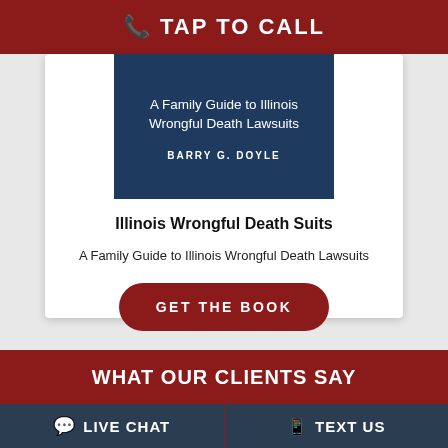📞 TAP TO CALL
[Figure (illustration): Book cover with dark navy background showing title 'A Family Guide to Illinois Wrongful Death Lawsuits' and author 'BARRY G. DOYLE']
Illinois Wrongful Death Suits
A Family Guide to Illinois Wrongful Death Lawsuits
GET THE BOOK
WHAT OUR CLIENTS SAY
LIVE CHAT   TEXT US